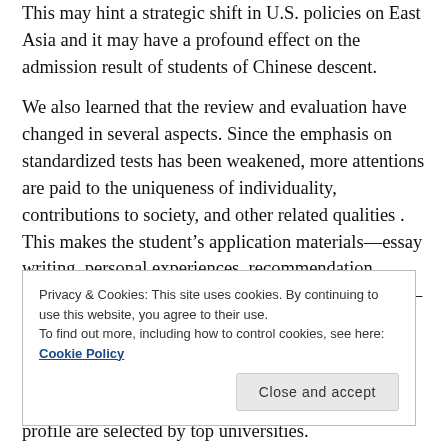This may hint a strategic shift in U.S. policies on East Asia and it may have a profound effect on the admission result of students of Chinese descent.
We also learned that the review and evaluation have changed in several aspects. Since the emphasis on standardized tests has been weakened, more attentions are paid to the uniqueness of individuality, contributions to society, and other related qualities . This makes the student's application materials—essay writing, personal experiences, recommendation, personality revelation, and extracurricular activities—particularly important.
Privacy & Cookies: This site uses cookies. By continuing to use this website, you agree to their use.
To find out more, including how to control cookies, see here: Cookie Policy
profile are selected by top universities.